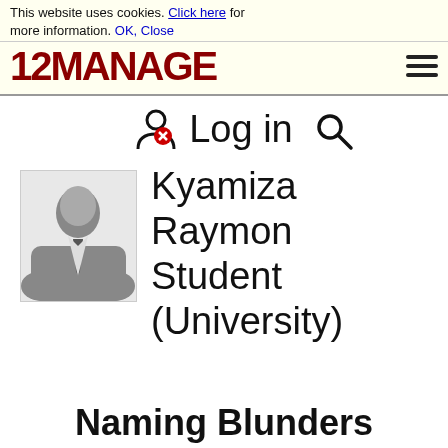This website uses cookies. Click here for more information. OK, Close
[Figure (logo): 12MANAGE logo in dark red bold text with hamburger menu icon]
🔴 Log in 🔍
[Figure (photo): Generic male silhouette profile photo placeholder]
Kyamiza Raymon Student (University)
Naming Blunders